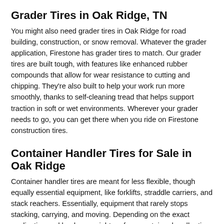Grader Tires in Oak Ridge, TN
You might also need grader tires in Oak Ridge for road building, construction, or snow removal. Whatever the grader application, Firestone has grader tires to match. Our grader tires are built tough, with features like enhanced rubber compounds that allow for wear resistance to cutting and chipping. They're also built to help your work run more smoothly, thanks to self-cleaning tread that helps support traction in soft or wet environments. Wherever your grader needs to go, you can get there when you ride on Firestone construction tires.
Container Handler Tires for Sale in Oak Ridge
Container handler tires are meant for less flexible, though equally essential equipment, like forklifts, straddle carriers, and stack reachers. Essentially, equipment that rarely stops stacking, carrying, and moving. Depending on the exact application and load, you might prefer a container handler tire with extra wide tread for traction and payload stability, but minimal speed capabilities. For applications that require plenty of materials to be moved quickly, though, you'll probably want to look a radial tire